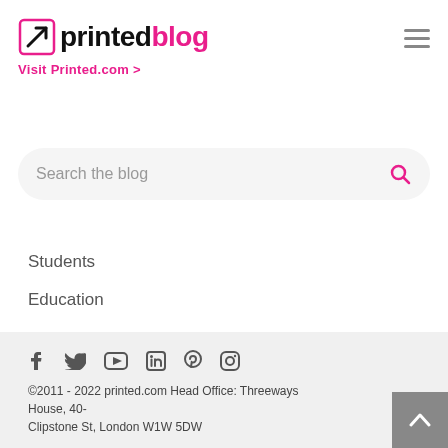printed blog — Visit Printed.com >
[Figure (screenshot): Search bar with placeholder text 'Search the blog' and pink search icon]
Students
Education
©2011 - 2022 printed.com Head Office: Threeways House, 40- Clipstone St, London W1W 5DW